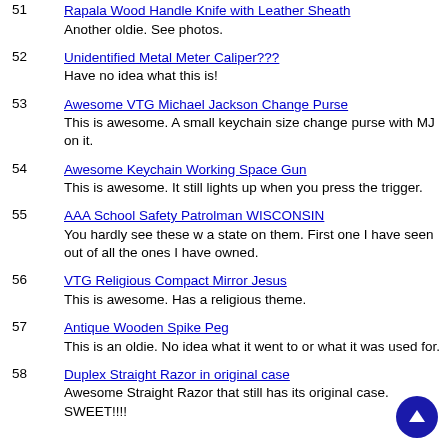51 Rapala Wood Handle Knife with Leather Sheath — Another oldie. See photos.
52 Unidentified Metal Meter Caliper??? — Have no idea what this is!
53 Awesome VTG Michael Jackson Change Purse — This is awesome. A small keychain size change purse with MJ on it.
54 Awesome Keychain Working Space Gun — This is awesome. It still lights up when you press the trigger.
55 AAA School Safety Patrolman WISCONSIN — You hardly see these w a state on them. First one I have seen out of all the ones I have owned.
56 VTG Religious Compact Mirror Jesus — This is awesome. Has a religious theme.
57 Antique Wooden Spike Peg — This is an oldie. No idea what it went to or what it was used for.
58 Duplex Straight Razor in original case — Awesome Straight Razor that still has its original case. SWEET!!!!